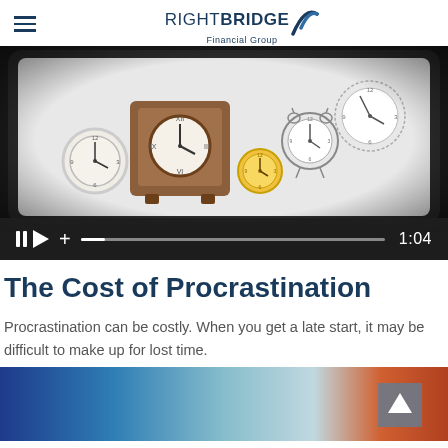RightBridge Financial Group
[Figure (screenshot): Video player showing a tablet screen with multiple clocks - an antique wooden mantel clock, a white round clock, and illustrated cartoon-style clocks. Video controls show pause, play, and plus buttons with a progress bar and duration 1:04.]
The Cost of Procrastination
Procrastination can be costly. When you get a late start, it may be difficult to make up for lost time.
[Figure (photo): Partial view of an abstract colorful image at the bottom of the page with blues, teals, and oranges.]